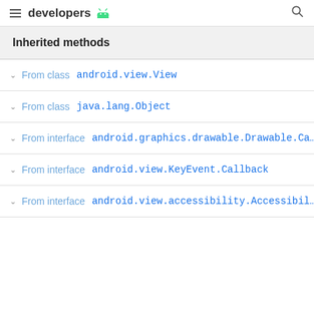developers
Inherited methods
From class android.view.View
From class java.lang.Object
From interface android.graphics.drawable.Drawable.Ca...
From interface android.view.KeyEvent.Callback
From interface android.view.accessibility.Accessibil...